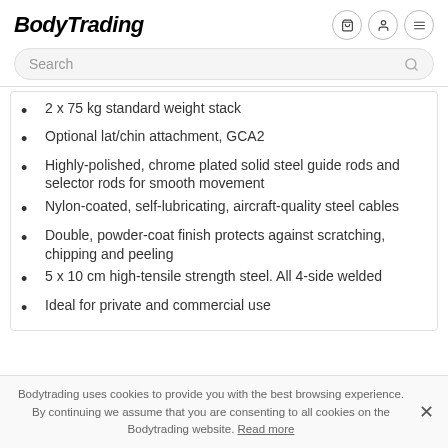BodyTrading
Search
2 x 75 kg standard weight stack
Optional lat/chin attachment, GCA2
Highly-polished, chrome plated solid steel guide rods and selector rods for smooth movement
Nylon-coated, self-lubricating, aircraft-quality steel cables
Double, powder-coat finish protects against scratching, chipping and peeling
5 x 10 cm high-tensile strength steel. All 4-side welded
Ideal for private and commercial use
Bodytrading uses cookies to provide you with the best browsing experience. By continuing we assume that you are consenting to all cookies on the Bodytrading website. Read more